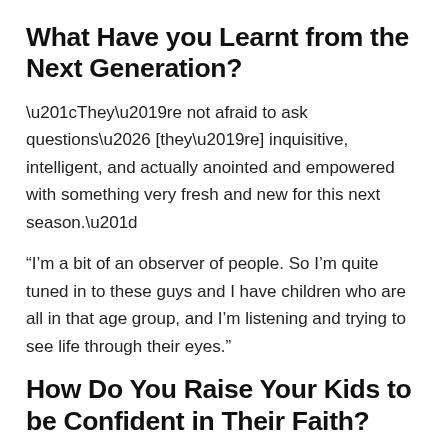What Have you Learnt from the Next Generation?
“They’re not afraid to ask questions… [they’re] inquisitive, intelligent, and actually anointed and empowered with something very fresh and new for this next season.”
“I’m a bit of an observer of people. So I’m quite tuned in to these guys and I have children who are all in that age group, and I’m listening and trying to see life through their eyes.”
How Do You Raise Your Kids to be Confident in Their Faith?